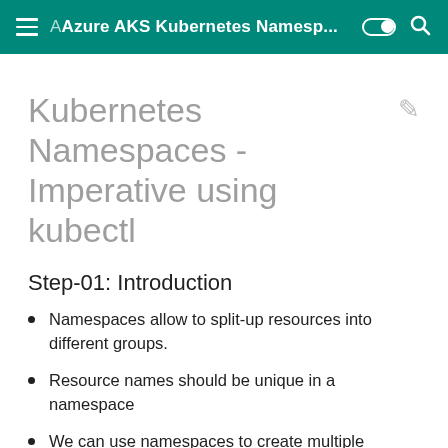Azure AKS Kubernetes Namesp...
Kubernetes Namespaces - Imperative using kubectl
Step-01: Introduction
Namespaces allow to split-up resources into different groups.
Resource names should be unique in a namespace
We can use namespaces to create multiple environments like dev, staging and production etc
Kubernetes will always list the resources from default